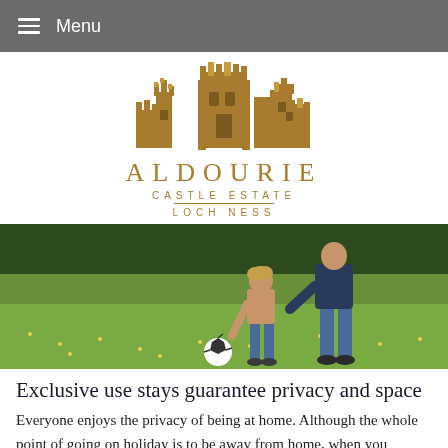≡ Menu
[Figure (logo): Aldourie Castle Estate Loch Ness logo with castle illustration in gold/brown and text below]
[Figure (photo): An adult and a young child playing football/soccer on a green lawn with trees in the background. The child is reaching toward a ball on the grass.]
Exclusive use stays guarantee privacy and space
Everyone enjoys the privacy of being at home. Although the whole point of going on holiday is to be away from home, when you choose an exclusive use holiday it's likely because you want